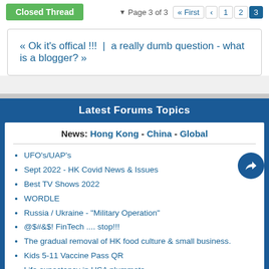Closed Thread | Page 3 of 3 « First ‹ 1 2 3
« Ok it's offical !!! | a really dumb question - what is a blogger? »
Latest Forums Topics
News: Hong Kong - China - Global
UFO's/UAP's
Sept 2022 - HK Covid News & Issues
Best TV Shows 2022
WORDLE
Russia / Ukraine - "Military Operation"
@$#&$! FinTech .... stop!!!
The gradual removal of HK food culture & small business.
Kids 5-11 Vaccine Pass QR
Life expectancy in USA plummets